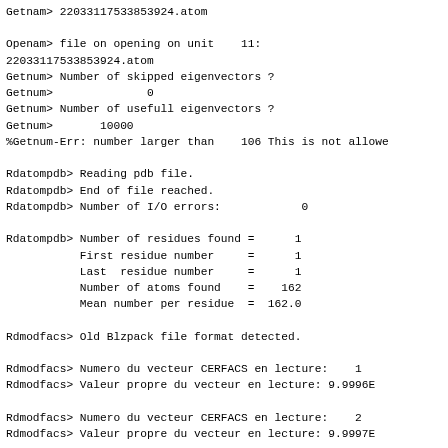Getnam> 22033117533853924.atom

Openam> file on opening on unit    11:
22033117533853924.atom
Getnum> Number of skipped eigenvectors ?
Getnum>              0
Getnum> Number of usefull eigenvectors ?
Getnum>       10000
%Getnum-Err: number larger than    106 This is not allowe

Rdatompdb> Reading pdb file.
Rdatompdb> End of file reached.
Rdatompdb> Number of I/O errors:            0

Rdatompdb> Number of residues found =      1
           First residue number     =      1
           Last  residue number     =      1
           Number of atoms found    =    162
           Mean number per residue  =  162.0

Rdmodfacs> Old Blzpack file format detected.

Rdmodfacs> Numero du vecteur CERFACS en lecture:    1
Rdmodfacs> Valeur propre du vecteur en lecture: 9.9996E

Rdmodfacs> Numero du vecteur CERFACS en lecture:    2
Rdmodfacs> Valeur propre du vecteur en lecture: 9.9997E

Rdmodfacs> Numero du vecteur CERFACS en lecture:    3
Rdmodfacs> Valeur propre du vecteur en lecture: 9.9998E